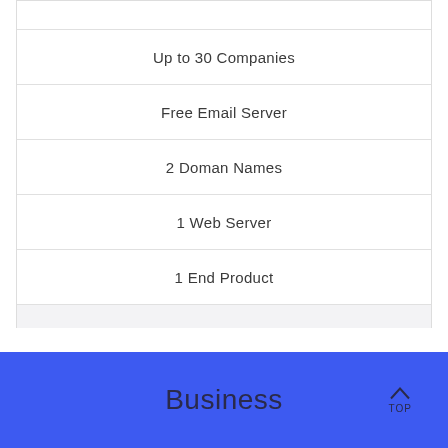Up to 30 Companies
Free Email Server
2 Doman Names
1 Web Server
1 End Product
BUY NOW
Business  TOP